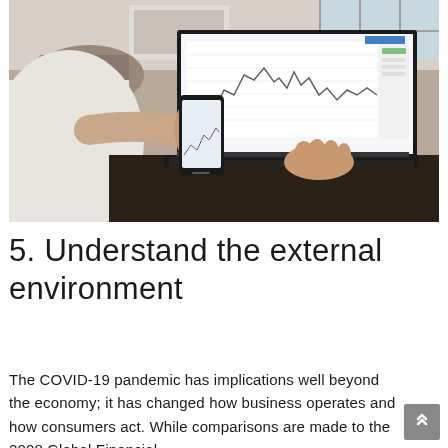[Figure (photo): Person sitting at a desk holding a smartphone showing financial charts while typing on a dark laptop computer. Financial trading chart is visible on the laptop screen. Office/café environment in background.]
5. Understand the external environment
The COVID-19 pandemic has implications well beyond the economy; it has changed how business operates and how consumers act. While comparisons are made to the 2008 Global Financial